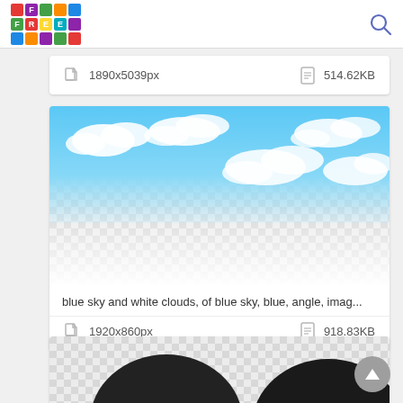FREE [logo] search icon
1890x5039px   514.62KB
[Figure (screenshot): Blue sky with white clouds image preview on a transparent checkered background]
blue sky and white clouds, of blue sky, blue, angle, imag...
1920x860px   918.83KB
[Figure (screenshot): Partially visible image card at bottom showing two dark black circular/blob shapes on a checkered background]